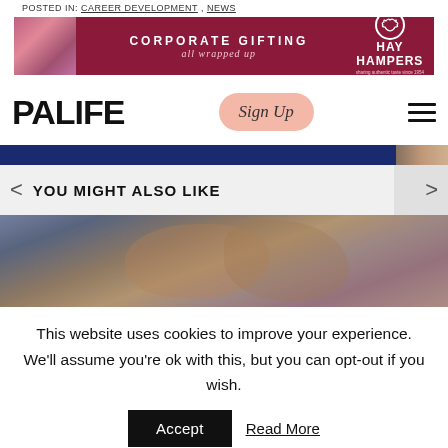POSTED IN: CAREER DEVELOPMENT , NEWS
[Figure (photo): Hay Hampers corporate gifting advertisement banner with dark red/maroon background, showing a gift box image on the left and text 'CORPORATE GIFTING all wrapped up' with Hay Hampers logo on the right]
PALIFE | Sign Up | Navigation menu
[Figure (screenshot): Blue navigation strip with partial image on right side]
YOU MIGHT ALSO LIKE
[Figure (photo): Close-up photo of a couple, showing romantic/intimate scene with warm vintage tones]
This website uses cookies to improve your experience. We'll assume you're ok with this, but you can opt-out if you wish.
Accept  Read More